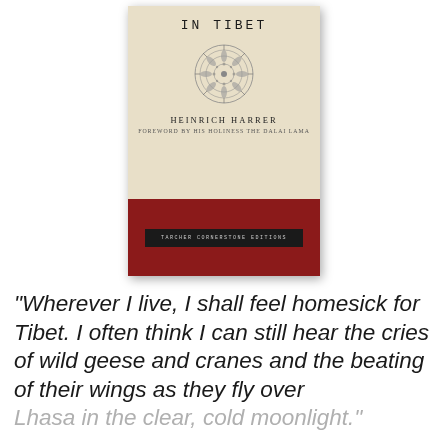[Figure (illustration): Book cover of 'Seven Years in Tibet' by Heinrich Harrer. Top half is cream/beige with title 'IN TIBET' in spaced capitals, a circular mandala ornament, author name 'HEINRICH HARRER' and 'FOREWORD BY HIS HOLINESS THE DALAI LAMA'. Bottom half is dark red with a black label reading 'TARCHER CORNERSTONE EDITIONS'.]
“Wherever I live, I shall feel homesick for Tibet. I often think I can still hear the cries of wild geese and cranes and the beating of their wings as they fly over Lhasa in the clear, cold moonlight.”